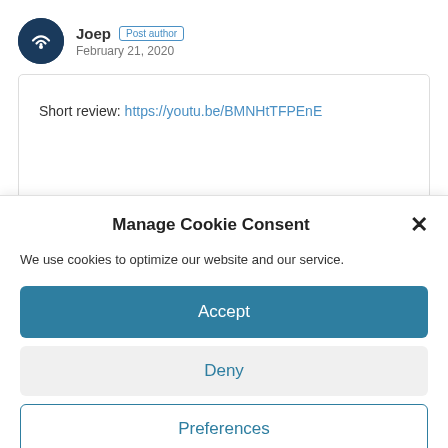[Figure (illustration): User avatar: dark circular icon with a wifi/signal arc symbol in white on dark blue background]
Joep Post author
February 21, 2020
Short review: https://youtu.be/BMNHtTFPEnE
Manage Cookie Consent
We use cookies to optimize our website and our service.
Accept
Deny
Preferences